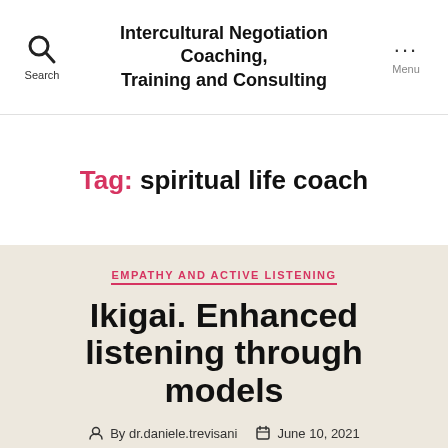Intercultural Negotiation Coaching, Training and Consulting
Tag: spiritual life coach
EMPATHY AND ACTIVE LISTENING
Ikigai. Enhanced listening through models
By dr.daniele.trevisani   June 10, 2021